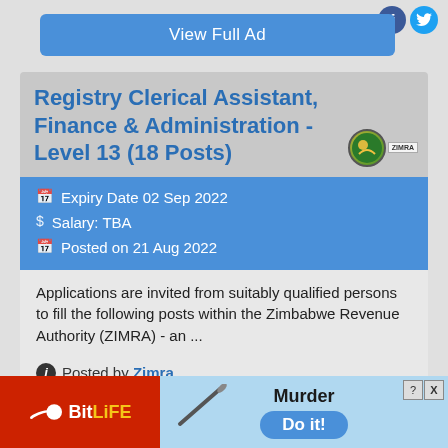Follow
View Full Ad
Registry Clerical Assistant, Finance & Administration - Level 13 (18 Posts)
Expiry Date 02 Sep 2022
Salary: TBA
Posted on 21 Aug 2022
Applications are invited from suitably qualified persons to fill the following posts within the Zimbabwe Revenue Authority (ZIMRA) - an ...
Posted by Zimra
View Full Ad
[Figure (screenshot): BitLife advertisement banner with 'Murder Do it!' promotional text]